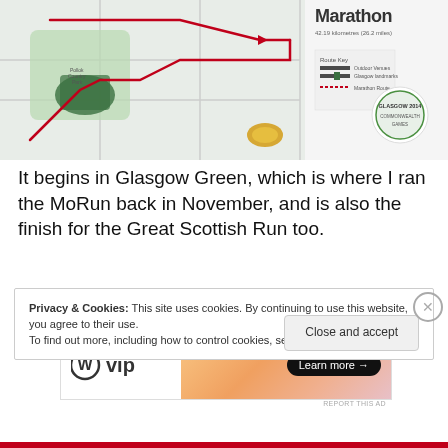[Figure (map): Map of Glasgow 2014 Commonwealth Games Marathon route showing 42.19 kilometres (26.2 miles), with a red route line through parkland, route key showing outdoor venues, Glasgow landmarks, and marathon route, with Glasgow 2014 logo]
It begins in Glasgow Green, which is where I ran the MoRun back in November, and is also the finish for the Great Scottish Run too.
[Figure (screenshot): WordPress VIP advertisement banner with 'W vip' logo on white left side and orange/peach gradient right side with 'Learn more →' button]
REPORT THIS AD
Privacy & Cookies: This site uses cookies. By continuing to use this website, you agree to their use.
To find out more, including how to control cookies, see here: Cookie Policy